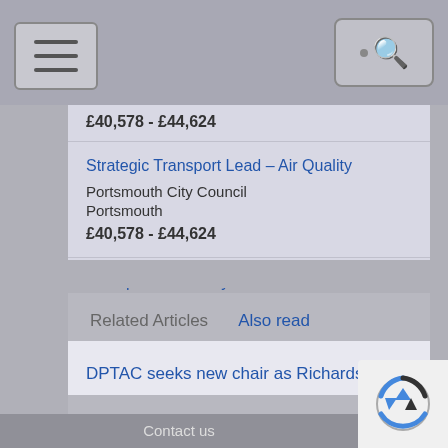Navigation and search bar
£40,578 - £44,624
Strategic Transport Lead - Air Quality
Portsmouth City Council
Portsmouth
£40,578 - £44,624
Principal Data Analyst
Portsmouth City Council
Portsmouth
£40,578 - £44,624
View all Vacancies
Related Articles
Also read
DPTAC seeks new chair as Richards stands
Contact us